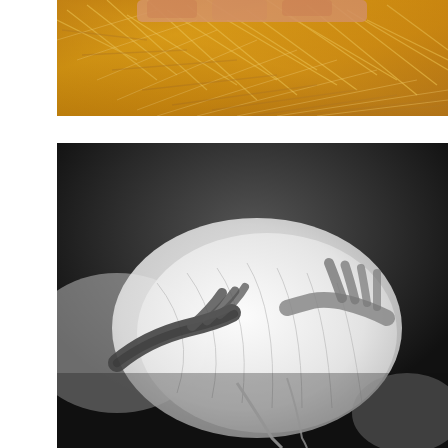[Figure (photo): Close-up color photograph of golden straw/hay with what appears to be fingers or a hand visible at the top, warm amber and golden tones]
[Figure (photo): Black and white photograph of a pregnant woman lying down wearing a white dress, with hands cradling her pregnant belly, dark blurred background]